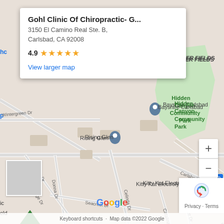[Figure (map): Google Maps screenshot showing the location of Gohl Clinic Of Chiropractic at 3150 El Camino Real Ste. B, Carlsbad, CA 92008. Map shows surrounding streets and landmarks including FLOWER FIELDS, Bayshire Carlsbad, Hidden Canyon Community Park, Rising Glen, Kitty Kat Electrolysis, and Palusso Family Christmas Light Display. A red pin marks the clinic location with a popup showing 4.9 star rating.]
Gohl Clinic Of Chiropractic- G...
3150 El Camino Real Ste. B, Carlsbad, CA 92008
4.9 ★★★★★
View larger map
Keyboard shortcuts · Map data ©2022 Google